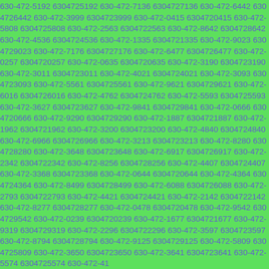630-472-5192 6304725192 630-472-7136 6304727136 630-472-6442 6304726442 630-472-3999 6304723999 630-472-0415 6304720415 630-472-5808 6304725808 630-472-2563 6304722563 630-472-8642 6304728642 630-472-4536 6304724536 630-472-1335 6304721335 630-472-9023 6304729023 630-472-7176 6304727176 630-472-6477 6304726477 630-472-0257 6304720257 630-472-0635 6304720635 630-472-3190 6304723190 630-472-3011 6304723011 630-472-4021 6304724021 630-472-3093 6304723093 630-472-5561 6304725561 630-472-9621 6304729621 630-472-6016 6304726016 630-472-4762 6304724762 630-472-5593 6304725593 630-472-3627 6304723627 630-472-9841 6304729841 630-472-0666 6304720666 630-472-9290 6304729290 630-472-1887 6304721887 630-472-1962 6304721962 630-472-3200 6304723200 630-472-4840 6304724840 630-472-6966 6304726966 630-472-3213 6304723213 630-472-8280 6304728280 630-472-3648 6304723648 630-472-6917 6304726917 630-472-2342 6304722342 630-472-8256 6304728256 630-472-4407 6304724407 630-472-3368 6304723368 630-472-0644 6304720644 630-472-4364 6304724364 630-472-8499 6304728499 630-472-6088 6304726088 630-472-2793 6304722793 630-472-4421 6304724421 630-472-2142 6304722142 630-472-8277 6304728277 630-472-0478 6304720478 630-472-9542 6304729542 630-472-0239 6304720239 630-472-1677 6304721677 630-472-9319 6304729319 630-472-2296 6304722296 630-472-3597 6304723597 630-472-8794 6304728794 630-472-9125 6304729125 630-472-5809 6304725809 630-472-3650 6304723650 630-472-3641 6304723641 630-472-5574 6304725574 630-472-41